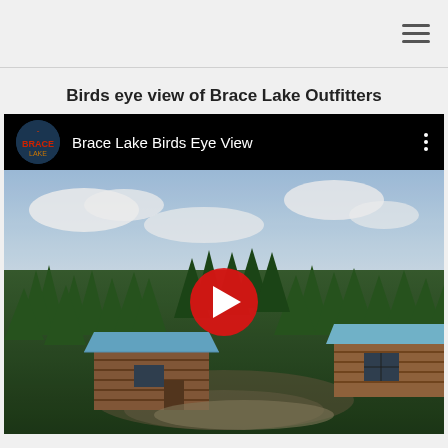navigation header with hamburger menu
Birds eye view of Brace Lake Outfitters
[Figure (screenshot): Embedded YouTube video thumbnail showing 'Brace Lake Birds Eye View' with channel logo, video title in top bar, and a drone/aerial photo of log cabins with blue metal roofs nestled among dense boreal forest trees, with a red YouTube play button overlay in the center.]